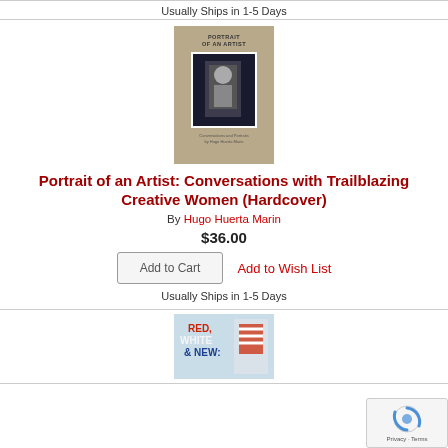Usually Ships in 1-5 Days
[Figure (photo): Book cover of 'Portrait of an Artist: Conversations with Trailblazing Creative Women' by Hugo Huerta Marin - tan/beige cover with a photograph inset]
Portrait of an Artist: Conversations with Trailblazing Creative Women (Hardcover)
By Hugo Huerta Marin
$36.00
Add to Cart
Add to Wish List
Usually Ships in 1-5 Days
[Figure (photo): Book cover of 'Red, White & New: Tales of Young Korean Americans' - partially visible at bottom]